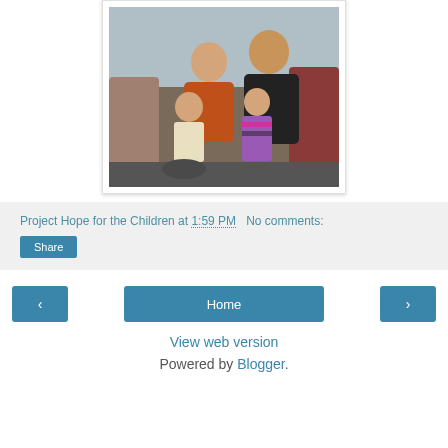[Figure (photo): Family photo showing two adults and two young children sitting on a couch. Woman in orange/red top, man in black shirt, one toddler boy and one girl in pink striped top.]
Project Hope for the Children at 1:59 PM   No comments:
Share
‹
Home
›
View web version
Powered by Blogger.